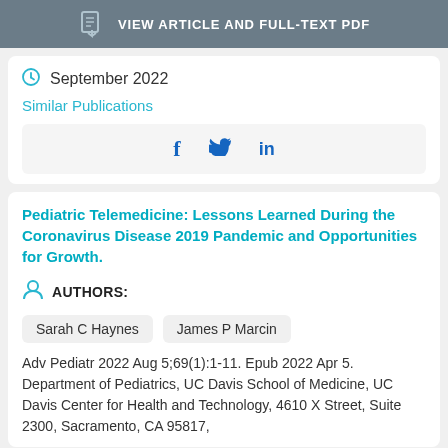[Figure (screenshot): Gray button with document icon and text VIEW ARTICLE AND FULL-TEXT PDF]
September 2022
Similar Publications
[Figure (screenshot): Social sharing bar with Facebook, Twitter, and LinkedIn icons in blue]
Pediatric Telemedicine: Lessons Learned During the Coronavirus Disease 2019 Pandemic and Opportunities for Growth.
AUTHORS:
Sarah C Haynes
James P Marcin
Adv Pediatr 2022 Aug 5;69(1):1-11. Epub 2022 Apr 5. Department of Pediatrics, UC Davis School of Medicine, UC Davis Center for Health and Technology, 4610 X Street, Suite 2300, Sacramento, CA 95817,